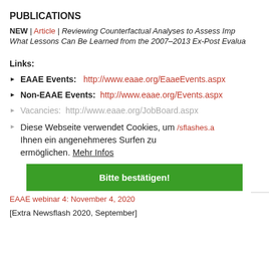PUBLICATIONS
NEW | Article | Reviewing Counterfactual Analyses to Assess Imp... What Lessons Can Be Learned from the 2007–2013 Ex-Post Evalua...
Links:
EAAE Events: http://www.eaae.org/EaaeEvents.aspx
Non-EAAE Events: http://www.eaae.org/Events.aspx
Vacancies: http://www.eaae.org/JobBoard.aspx
Diese Webseite verwendet Cookies, um /sflashes.a Ihnen ein angenehmeres Surfen zu ermöglichen. Mehr Infos
Bitte bestätigen!
EAAE webinar 4: November 4, 2020
[Extra Newsflash 2020, September]